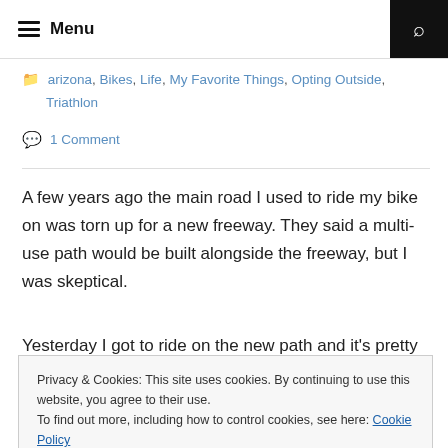Menu
arizona, Bikes, Life, My Favorite Things, Opting Outside, Triathlon
1 Comment
A few years ago the main road I used to ride my bike on was torn up for a new freeway. They said a multi-use path would be built alongside the freeway, but I was skeptical.
Yesterday I got to ride on the new path and it's pretty
Privacy & Cookies: This site uses cookies. By continuing to use this website, you agree to their use.
To find out more, including how to control cookies, see here: Cookie Policy
Close and accept
my riding (and most other fun outdoor activities).